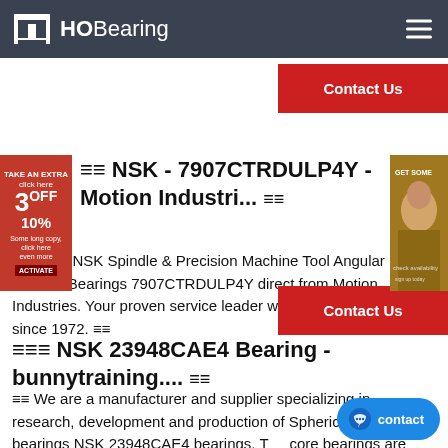HOBearing
[Figure (screenshot): Contact Us red button top right]
[Figure (photo): Left ad banner: TAKE AN EXTRA 3OFF 10%]
[Figure (photo): Right ad banner: woman photo]
NSK - 7907CTRDULP4Y - Motion Industri...
Buy NSK Spindle & Precision Machine Tool Angular Contact Bearings 7907CTRDULP4Y direct from Motion Industries. Your proven service leader with reliable delivery since 1972.
[Figure (screenshot): Contact Us red button second]
NSK 23948CAE4 Bearing - bunnytraining....
We are a manufacturer and supplier specializing in research, development and production of Spherical roller bearings NSK 23948CAE4 bearings. The core bearings are Spherical roller bearings NSK 23948CAE4 and also we are a ball bearings seller.
[Figure (screenshot): Blue contact chat widget at bottom right]